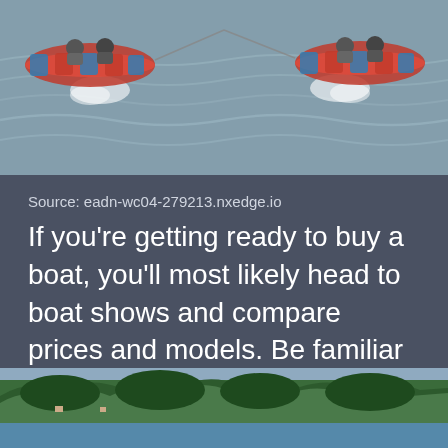[Figure (photo): Top portion of a photo showing people on inflatable tubes being towed by a boat on choppy water, with colorful red and blue tubes visible]
Source: eadn-wc04-279213.nxedge.io
If you're getting ready to buy a boat, you'll most likely head to boat shows and compare prices and models. Be familiar with your riders · 4. However, towing and balancing the inflatable tube safely can be quite challenging, frustrating, and in some cases, .
[Figure (photo): Bottom portion of a photo showing a lake shoreline with dense green trees and a calm blue water surface]